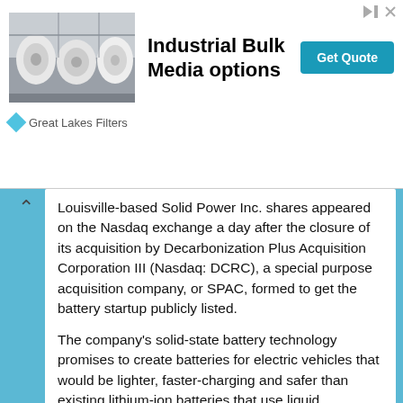[Figure (illustration): Industrial bulk media rolls in a factory setting, used as advertisement image for Great Lakes Filters]
Industrial Bulk Media options
Get Quote
Great Lakes Filters
Louisville-based Solid Power Inc. shares appeared on the Nasdaq exchange a day after the closure of its acquisition by Decarbonization Plus Acquisition Corporation III (Nasdaq: DCRC), a special purpose acquisition company, or SPAC, formed to get the battery startup publicly listed.
The company's solid-state battery technology promises to create batteries for electric vehicles that would be lighter, faster-charging and safer than existing lithium-ion batteries that use liquid electrolytes.
The SPAC deal brought Solid Power enough cash to begin commercial-scale production and integrate its solid-state batteries for use in electric